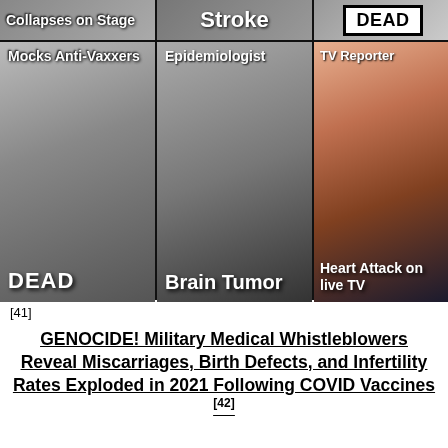[Figure (photo): Collage of three images arranged in a 3x2 grid. Top row overlays: 'Collapses on Stage', 'Stroke', and a white-bordered box reading 'DEAD'. Bottom row: left cell shows an elderly man labeled 'Mocks Anti-Vaxxers' at top and 'DEAD' at bottom; center cell shows a woman with glasses labeled 'Epidemiologist' at top and 'Brain Tumor' at bottom; right cell shows a young man labeled 'TV Reporter' at top and 'Heart Attack on live TV' at bottom.]
[41]
GENOCIDE! Military Medical Whistleblowers Reveal Miscarriages, Birth Defects, and Infertility Rates Exploded in 2021 Following COVID Vaccines [42]